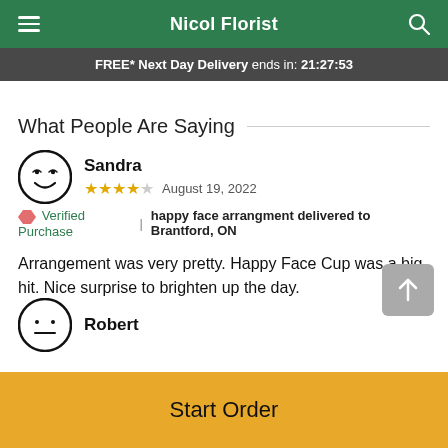Nicol Florist
FREE* Next Day Delivery ends in: 21:27:53
What People Are Saying
Sandra
★★★★☆ August 19, 2022
🏷 Verified Purchase | happy face arrangment delivered to Brantford, ON
Arrangement was very pretty. Happy Face Cup was a big hit. Nice surprise to brighten up the day.
Robert